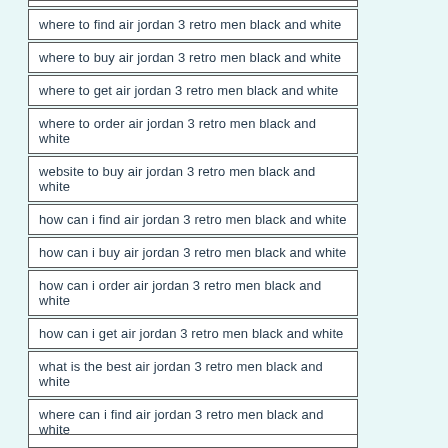where to find air jordan 3 retro men black and white
where to buy air jordan 3 retro men black and white
where to get air jordan 3 retro men black and white
where to order air jordan 3 retro men black and white
website to buy air jordan 3 retro men black and white
how can i find air jordan 3 retro men black and white
how can i buy air jordan 3 retro men black and white
how can i order air jordan 3 retro men black and white
how can i get air jordan 3 retro men black and white
what is the best air jordan 3 retro men black and white
where can i find air jordan 3 retro men black and white